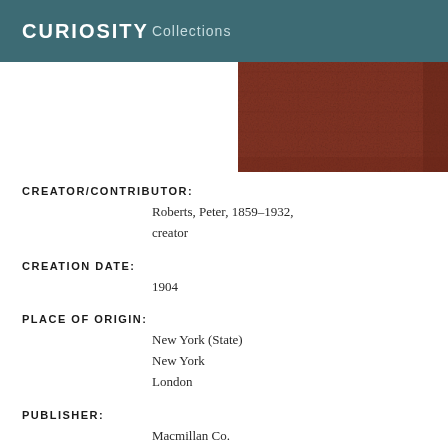CURIOSITY Collections
[Figure (photo): Red/brown cloth book cover texture, partial view cropped at top right]
CREATOR/CONTRIBUTOR:
Roberts, Peter, 1859-1932, creator
CREATION DATE:
1904
PLACE OF ORIGIN:
New York (State)
New York
London
PUBLISHER:
Macmillan Co.
Macmillan & Co.